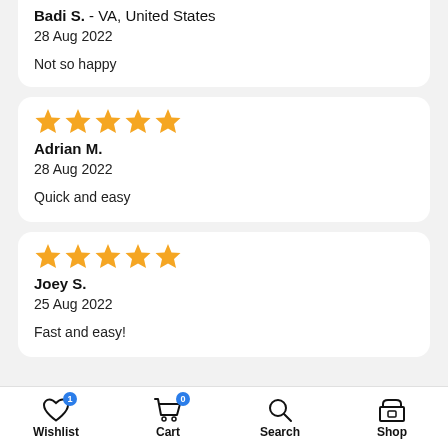Badi S. - VA, United States
28 Aug 2022

Not so happy
★★★★★
Adrian M.
28 Aug 2022

Quick and easy
★★★★★
Joey S.
25 Aug 2022

Fast and easy!
Wishlist  Cart 0  Search  Shop